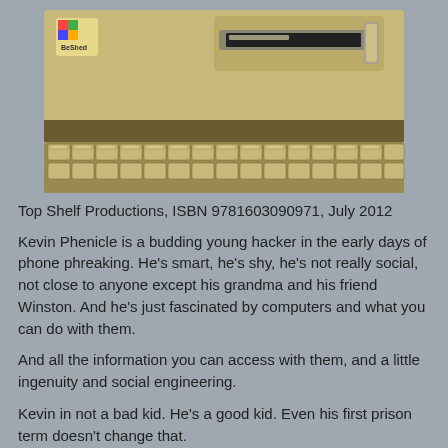[Figure (illustration): Illustration of a vintage Commodore 64-style computer showing the top portion with a disk drive slot, a small colorful logo in the upper left, and the keyboard with many beige/tan keys visible from above.]
Top Shelf Productions, ISBN 9781603090971, July 2012
Kevin Phenicle is a budding young hacker in the early days of phone phreaking. He's smart, he's shy, he's not really social, not close to anyone except his grandma and his friend Winston. And he's just fascinated by computers and what you can do with them.
And all the information you can access with them, and a little ingenuity and social engineering.
Kevin in not a bad kid. He's a good kid. Even his first prison term doesn't change that.